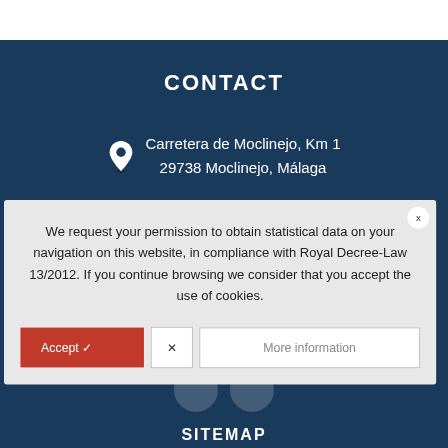CONTACT
Carretera de Moclinejo, Km 1
29738 Moclinejo, Málaga
informacion@montealminara.com
We request your permission to obtain statistical data on your navigation on this website, in compliance with Royal Decree-Law 13/2012. If you continue browsing we consider that you accept the use of cookies.
+34657438198
+34657438198
SITEMAP